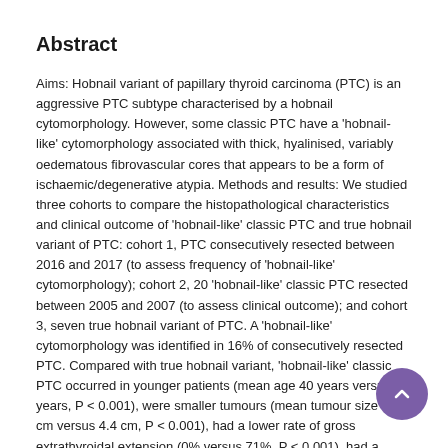Abstract
Aims: Hobnail variant of papillary thyroid carcinoma (PTC) is an aggressive PTC subtype characterised by a hobnail cytomorphology. However, some classic PTC have a 'hobnail-like' cytomorphology associated with thick, hyalinised, variably oedematous fibrovascular cores that appears to be a form of ischaemic/degenerative atypia. Methods and results: We studied three cohorts to compare the histopathological characteristics and clinical outcome of 'hobnail-like' classic PTC and true hobnail variant of PTC: cohort 1, PTC consecutively resected between 2016 and 2017 (to assess frequency of 'hobnail-like' cytomorphology); cohort 2, 20 'hobnail-like' classic PTC resected between 2005 and 2007 (to assess clinical outcome); and cohort 3, seven true hobnail variant of PTC. A 'hobnail-like' cytomorphology was identified in 16% of consecutively resected PTC. Compared with true hobnail variant, 'hobnail-like' classic PTC occurred in younger patients (mean age 40 years versus 68 years, P < 0.001), were smaller tumours (mean tumour size 2.1 cm versus 4.4 cm, P < 0.001), had a lower rate of gross extrathyroidal extension (0% versus 71%, P < 0.001), had a lower proliferative rate (>3 mitoses per 10 high power fields